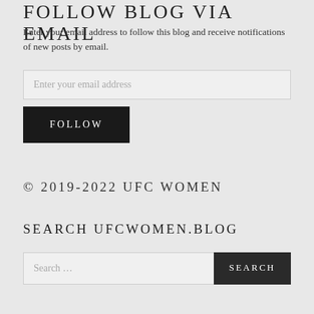FOLLOW BLOG VIA EMAIL
Enter your email address to follow this blog and receive notifications of new posts by email.
Enter your email address
FOLLOW
© 2019-2022 UFC WOMEN
SEARCH UFCWOMEN.BLOG
Search …
SEARCH